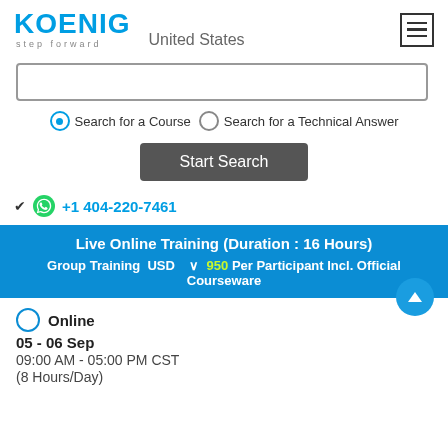[Figure (logo): Koenig 'step forward' logo with United States country label and hamburger menu icon]
[Figure (screenshot): Search input box (empty text field)]
Search for a Course   Search for a Technical Answer
Start Search
+1 404-220-7461
Live Online Training (Duration : 16 Hours)
Group Training  USD    950 Per Participant Incl. Official Courseware
Online
05 - 06 Sep
09:00 AM - 05:00 PM CST
(8 Hours/Day)